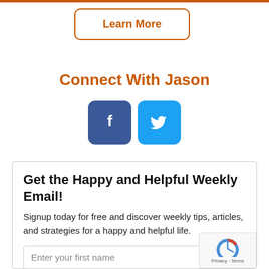Learn More
Connect With Jason
[Figure (illustration): Facebook and Twitter social media icon buttons — Facebook (dark blue square with white f logo) and Twitter (light blue square with white bird logo)]
Get the Happy and Helpful Weekly Email!
Signup today for free and discover weekly tips, articles, and strategies for a happy and helpful life.
Enter your first name